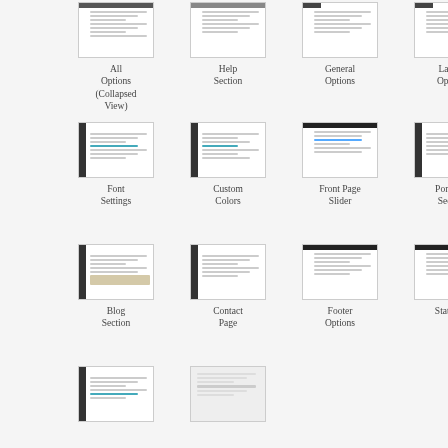[Figure (screenshot): Thumbnail of All Options (Collapsed View) settings panel]
All Options (Collapsed View)
[Figure (screenshot): Thumbnail of Help Section settings panel]
Help Section
[Figure (screenshot): Thumbnail of General Options settings panel]
General Options
[Figure (screenshot): Thumbnail of Layout Options settings panel]
Layout Options
[Figure (screenshot): Thumbnail of Font Settings panel]
Font Settings
[Figure (screenshot): Thumbnail of Custom Colors settings panel]
Custom Colors
[Figure (screenshot): Thumbnail of Front Page Slider settings panel]
Front Page Slider
[Figure (screenshot): Thumbnail of Portfolio Section settings panel]
Portfolio Section
[Figure (screenshot): Thumbnail of Blog Section settings panel]
Blog Section
[Figure (screenshot): Thumbnail of Contact Page settings panel]
Contact Page
[Figure (screenshot): Thumbnail of Footer Options settings panel]
Footer Options
[Figure (screenshot): Thumbnail of Statistics settings panel]
Statistics
[Figure (screenshot): Thumbnail of additional settings panel (row 4, item 1)]
[Figure (screenshot): Thumbnail of additional settings panel (row 4, item 2)]